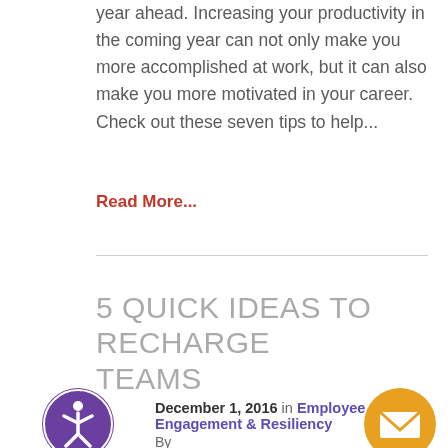year ahead. Increasing your productivity in the coming year can not only make you more accomplished at work, but it can also make you more motivated in your career. Check out these seven tips to help...
Read More...
5 QUICK IDEAS TO RECHARGE TEAMS
December 1, 2016 in Employee Engagement & Resiliency By
[Figure (illustration): Purple circle with accessibility icon (person in circle)]
[Figure (illustration): Orange circle with envelope/email icon]